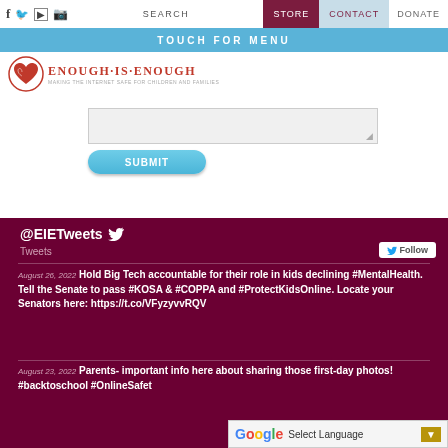SEARCH | STORE | CONTACT | DONATE
TOUCH FOR MENU
[Figure (logo): Enough Is Enough organization logo with heart icon and tagline]
[Figure (screenshot): Text input field with a SUBMIT button]
@EIETweets Tweets Follow
August 26, 2022 Hold Big Tech accountable for their role in kids declining #MentalHealth. Tell the Senate to pass #KOSA & #COPPA and #ProtectKidsOnline. Locate your Senators here: https://t.co/VFyzyvvRQV
August 23, 2022 Parents- important info here about sharing those first-day photos! #backtoschool #OnlineSafety
Select Language